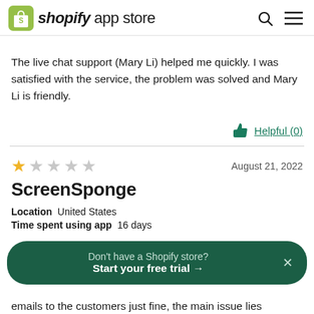shopify app store
The live chat support (Mary Li) helped me quickly. I was satisfied with the service, the problem was solved and Mary Li is friendly.
Helpful (0)
August 21, 2022
ScreenSponge
Location United States
Time spent using app 16 days
Don't have a Shopify store? Start your free trial →
emails to the customers just fine, the main issue lies